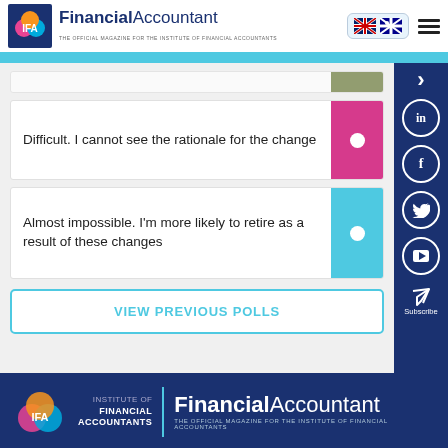FinancialAccountant — THE OFFICIAL MAGAZINE FOR THE INSTITUTE OF FINANCIAL ACCOUNTANTS
Difficult. I cannot see the rationale for the change
Almost impossible. I'm more likely to retire as a result of these changes
VIEW PREVIOUS POLLS
FinancialAccountant — THE OFFICIAL MAGAZINE FOR THE INSTITUTE OF FINANCIAL ACCOUNTANTS